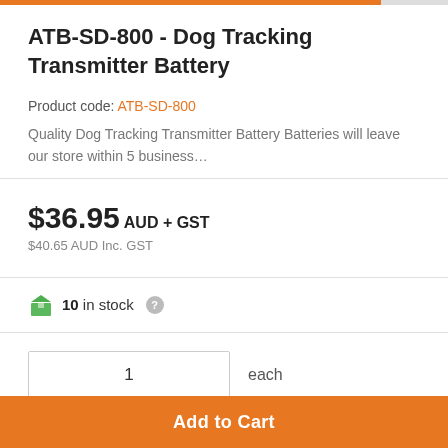ATB-SD-800 - Dog Tracking Transmitter Battery
Product code: ATB-SD-800
Quality Dog Tracking Transmitter Battery Batteries will leave our store within 5 business...
$36.95 AUD + GST
$40.65 AUD Inc. GST
10 in stock
1 each